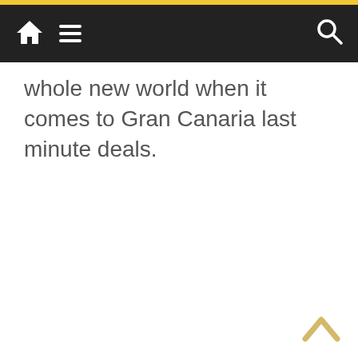Navigation bar with home, menu, and search icons
whole new world when it comes to Gran Canaria last minute deals.